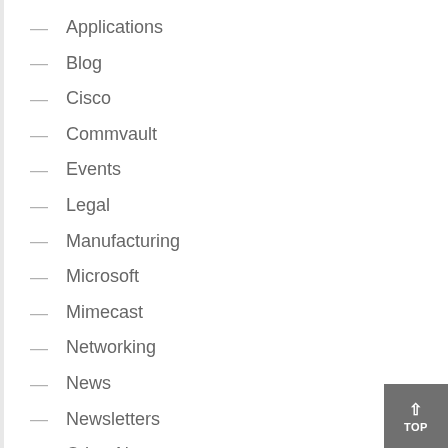— Applications
— Blog
— Cisco
— Commvault
— Events
— Legal
— Manufacturing
— Microsoft
— Mimecast
— Networking
— News
— Newsletters
— Other News
— Retail